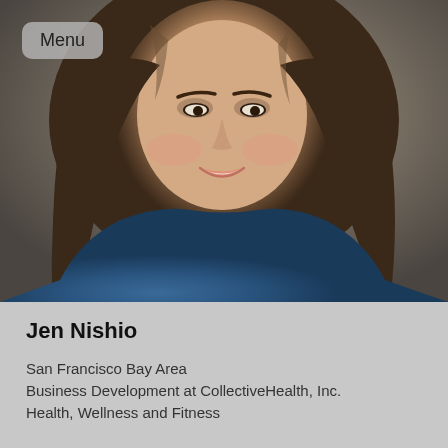[Figure (photo): Professional headshot of a woman with long brown hair, smiling, wearing a blue top. Gray/taupe background. Menu button overlay in top-left corner.]
Jen Nishio
San Francisco Bay Area
Business Development at CollectiveHealth, Inc.
Health, Wellness and Fitness